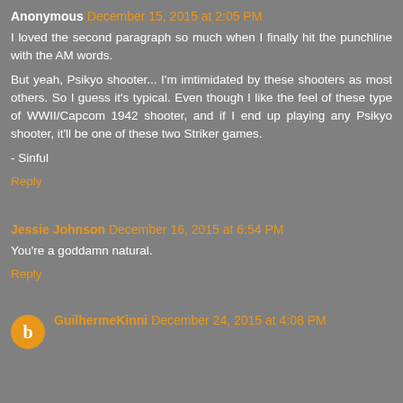Anonymous December 15, 2015 at 2:05 PM
I loved the second paragraph so much when I finally hit the punchline with the AM words.
But yeah, Psikyo shooter... I'm imtimidated by these shooters as most others. So I guess it's typical. Even though I like the feel of these type of WWII/Capcom 1942 shooter, and if I end up playing any Psikyo shooter, it'll be one of these two Striker games.
- Sinful
Reply
Jessie Johnson December 16, 2015 at 6:54 PM
You're a goddamn natural.
Reply
GuilhermeKinni December 24, 2015 at 4:08 PM